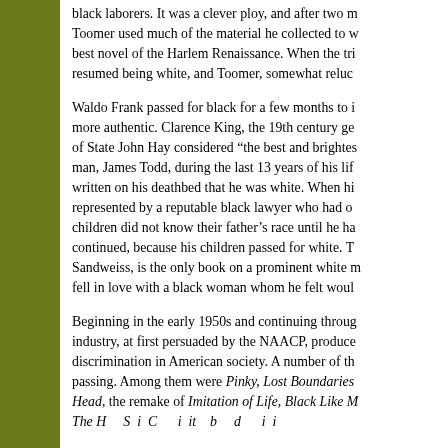black laborers. It was a clever ploy, and after two m Toomer used much of the material he collected to w best novel of the Harlem Renaissance. When the tri resumed being white, and Toomer, somewhat reluc
Waldo Frank passed for black for a few months to i more authentic. Clarence King, the 19th century ge of State John Hay considered "the best and brightes man, James Todd, during the last 13 years of his lif written on his deathbed that he was white. When hi represented by a reputable black lawyer who had o children did not know their father's race until he ha continued, because his children passed for white. T Sandweiss, is the only book on a prominent white m fell in love with a black woman whom he felt woul
Beginning in the early 1950s and continuing throug industry, at first persuaded by the NAACP, produce discrimination in American society. A number of th passing. Among them were Pinky, Lost Boundaries Head, the remake of Imitation of Life, Black Like M The H S i C i it b d i i